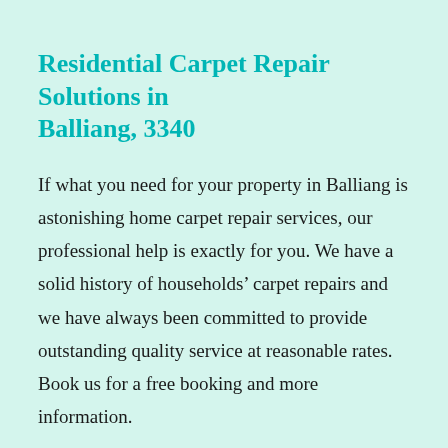Residential Carpet Repair Solutions in Balliang, 3340
If what you need for your property in Balliang is astonishing home carpet repair services, our professional help is exactly for you. We have a solid history of households’ carpet repairs and we have always been committed to provide outstanding quality service at reasonable rates. Book us for a free booking and more information.